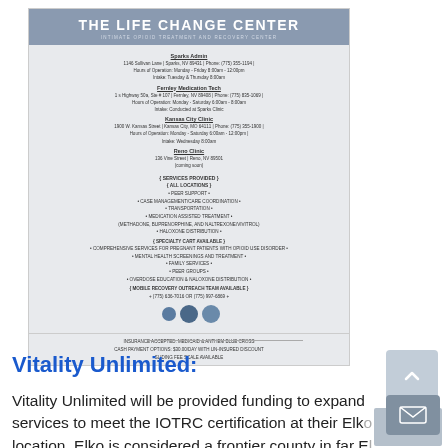[Figure (logo): The Life Change Center — Intimate Opioid Treatment and Recovery Center logo banner with gray header]
Sparks Admin
1146 Sullivan Lane | Sparks, NV 89431 | Phone: (775) 355-1194 |
Hours of Operation: Monday - Friday 8:00am - 12:00pm
Intake: Tuesday & Thursday 8:00am
Fernley Medication Tech
1 s Highway 50a, Ste # 107 | Fernley, NV 89408 | Phone: (775) 835-1069 |
Hours of Operation: Monday - Saturday 6:00am - 8:00am
Intake: Conducted at Sparks Clinic
Kansas City Clinic
1900 W. Kansas Street | Kansas City, MO 64111 | Phone: (775) 355-1900 |
Hours of Operation: Monday - Saturday 6:00am - 12:00pm |
Intake: Wednesday 8:00am
Reno Clinic
136 Vine Street | Reno, NV 89501
(coming soon)
{ SERVICES PROVIDED }
{ ALL LOCATIONS }
• PEER SUPPORT •
• CASE MANAGEMENT/CARE COORDINATION •
• TRANSPORTATION •
• MEDICATION ASSISTED TREATMENT •
(METHADONE, BUPRENORPHINE, AND NALTREXONE/VIVITROL)
• HALOXONE DISTRIBUTION •
{ SPECIALTY CART AVAILABLE }
• COMPREHENSIVE SERVICES FOR PREGNANT PATIENTS WITH OPIOID USE DISORDER •
• MENTAL HEALTH SCREENINGS AND TREATMENT •
• FAMILY SERVICES •
• PEER GROUPS •
• OVERDOSE EDUCATION & NALOXONE DISTRIBUTION •
{ MOBILE RECOVERY OUTREACH TEAM AVAILABLE }
+ (775) 636-7016 OR (775) 997-6869 +
INSURANCE ACCEPTED: MEDICAID & ANTHEM BLUE CROSS
CASH PAYMENT OPTIONS: $30.00/DAY WITH UN-INSURED DISCOUNT
SLIDING FEE SCALE AVAILABLE
Vitality Unlimited:
Vitality Unlimited will be provided funding to expand services to meet the IOTRC certification at their Elko location. Elko is considered a frontier county in far E...